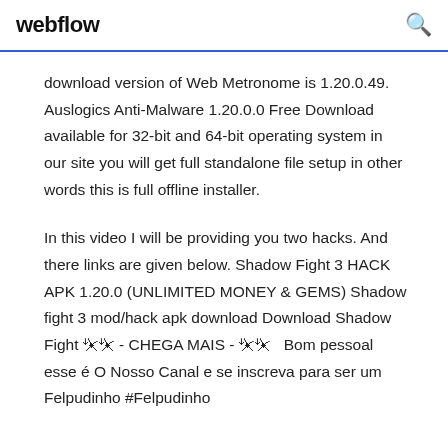webflow
download version of Web Metronome is 1.20.0.49. Auslogics Anti-Malware 1.20.0.0 Free Download available for 32-bit and 64-bit operating system in our site you will get full standalone file setup in other words this is full offline installer.
In this video I will be providing you two hacks. And there links are given below. Shadow Fight 3 HACK APK 1.20.0 (UNLIMITED MONEY & GEMS) Shadow fight 3 mod/hack apk download Download Shadow Fight ⌣⌣ - CHEGA MAIS - ⌣⌣  Bom pessoal esse é O Nosso Canal e se inscreva para ser um Felpudinho #Felpudinho